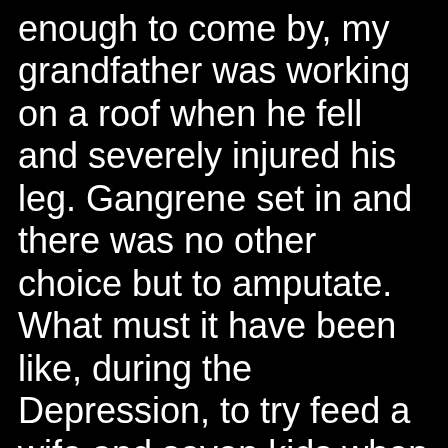enough to come by, my grandfather was working on a roof when he fell and severely injured his leg. Gangrene set in and there was no other choice but to amputate. What must it have been like, during the Depression, to try feed a wife and seven kids when your disability left even less opportunity open to you? Did the drinking, did the cruelty, start before or after the accident? Did he smile more before an unfortunate circumstance made him feel like a failure or was he always so sour? Or am I perhaps letting the stories my mom told me help me assume the worst about him when I